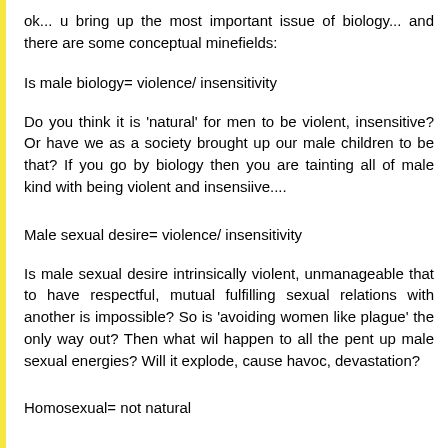ok... u bring up the most important issue of biology... and there are some conceptual minefields:
Is male biology= violence/ insensitivity
Do you think it is 'natural' for men to be violent, insensitive? Or have we as a society brought up our male children to be that? If you go by biology then you are tainting all of male kind with being violent and insensiive....
Male sexual desire= violence/ insensitivity
Is male sexual desire intrinsically violent, unmanageable that to have respectful, mutual fulfilling sexual relations with another is impossible? So is 'avoiding women like plague' the only way out? Then what wil happen to all the pent up male sexual energies? Will it explode, cause havoc, devastation?
Homosexual= not natural